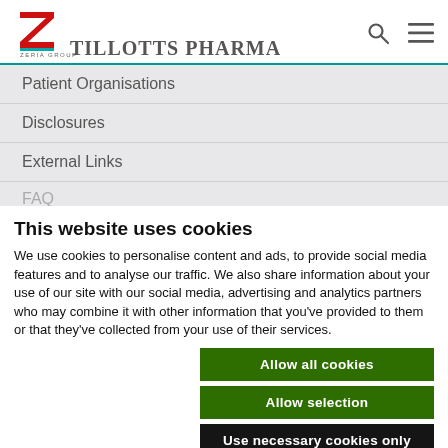[Figure (logo): Tillotts Pharma logo with Zeria Group mark, search icon, and hamburger menu icon]
Patient Organisations
Disclosures
External Links
FAQ (partially visible)
This website uses cookies
We use cookies to personalise content and ads, to provide social media features and to analyse our traffic. We also share information about your use of our site with our social media, advertising and analytics partners who may combine it with other information that you've provided to them or that they've collected from your use of their services.
Allow all cookies
Allow selection
Use necessary cookies only
Necessary  Preferences  Statistics  Marketing  Show details